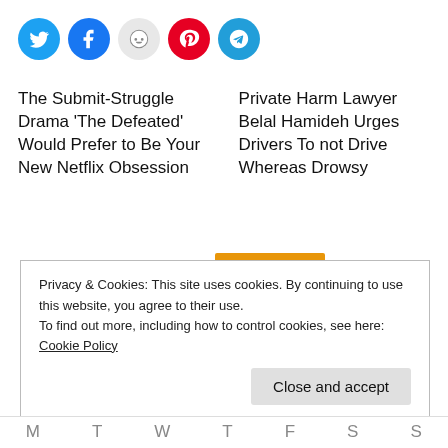[Figure (infographic): Row of five social media share buttons: Twitter (blue), Facebook (blue), Reddit (light gray), Pinterest (red), Telegram (blue)]
The Submit-Struggle Drama 'The Defeated' Would Prefer to Be Your New Netflix Obsession
Private Harm Lawyer Belal Hamideh Urges Drivers To not Drive Whereas Drowsy
Privacy & Cookies: This site uses cookies. By continuing to use this website, you agree to their use.
To find out more, including how to control cookies, see here: Cookie Policy
Close and accept
M  T  W  T  F  S  S